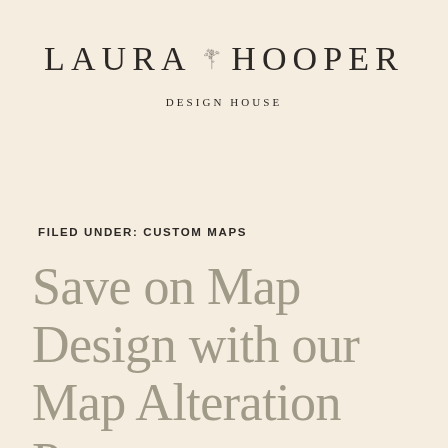[Figure (logo): Laura Hooper Design House logo with floral botanical illustration between the words LAURA and HOOPER, with DESIGN HOUSE subtitle below]
FILED UNDER: CUSTOM MAPS
Save on Map Design with our Map Alteration Process